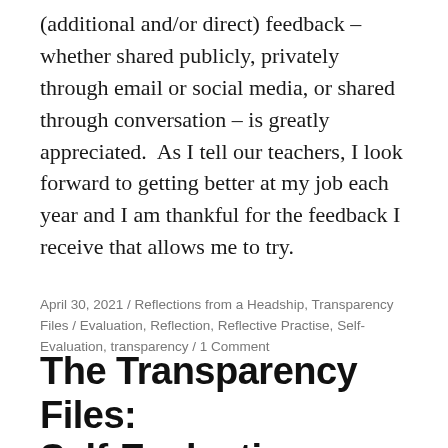(additional and/or direct) feedback – whether shared publicly, privately through email or social media, or shared through conversation – is greatly appreciated.  As I tell our teachers, I look forward to getting better at my job each year and I am thankful for the feedback I receive that allows me to try.
April 30, 2021 / Reflections from a Headship, Transparency Files / Evaluation, Reflection, Reflective Practise, Self-Evaluation, transparency / 1 Comment
The Transparency Files: Self-Evaluation